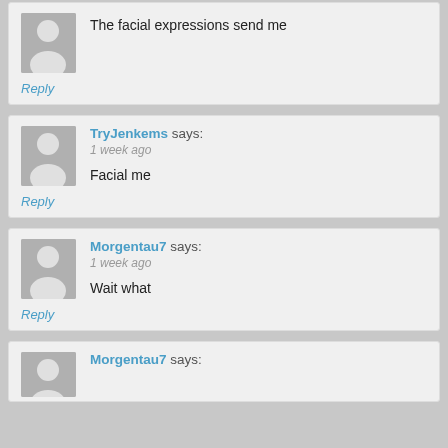The facial expressions send me
Reply
TryJenkems says:
1 week ago
Facial me
Reply
Morgentau7 says:
1 week ago
Wait what
Reply
Morgentau7 says: